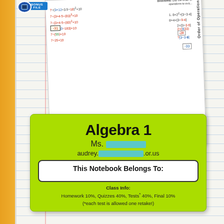[Figure (photo): Photo of an Algebra 1 notebook cover label (green, chartreuse) and an Order of Operations worksheet, placed on lined notebook paper. The green label shows 'Algebra 1', teacher name (redacted), email (redacted), 'This Notebook Belongs To:' box, and class info. A 'BONUS FILE' badge appears in the upper left. The worksheet shows math problems with steps worked out in colored pen.]
Algebra 1
Ms. [redacted]
audrey.[redacted].or.us
This Notebook Belongs To:
Class Info:
Homework 10%, Quizzes 40%, Tests* 40%, Final 10%
(*each test is allowed one retake!)